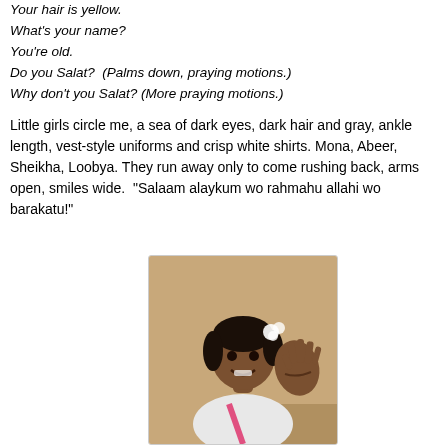Your hair is yellow.
What's your name?
You're old.
Do you Salat?  (Palms down, praying motions.)
Why don't you Salat? (More praying motions.)
Little girls circle me, a sea of dark eyes, dark hair and gray, ankle length, vest-style uniforms and crisp white shirts. Mona, Abeer, Sheikha, Loobya. They run away only to come rushing back, arms open, smiles wide.  "Salaam alaykum wo rahmahu allahi wo barakatu!"
[Figure (photo): A young girl with dark hair and a white flower accessory, wearing a white top with a pink strap, waving at the camera with a big smile.]